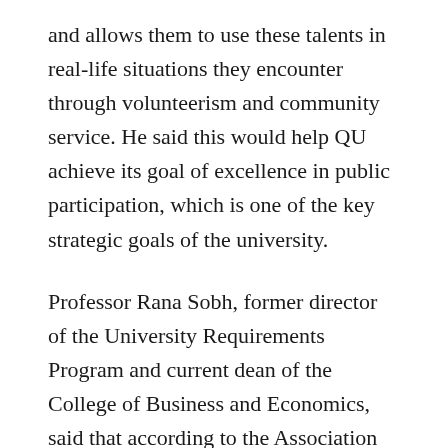and allows them to use these talents in real-life situations they encounter through volunteerism and community service. He said this would help QU achieve its goal of excellence in public participation, which is one of the key strategic goals of the university.
Professor Rana Sobh, former director of the University Requirements Program and current dean of the College of Business and Economics, said that according to the Association of American Colleges and Universities, community-based learning is one of the most influential trends in the world of public university education.
It is also helpful to meet the requirements for implementing experience education, which is one of the